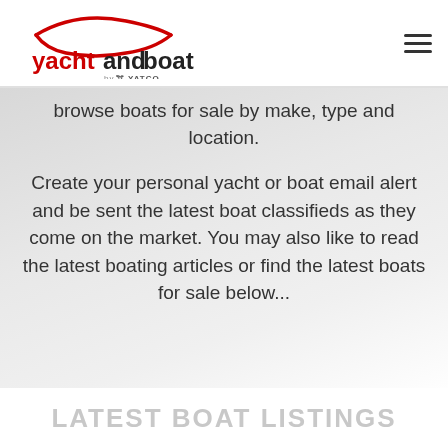[Figure (logo): yachtandboat by YATCO logo - red and dark text with red boat/arch graphic above]
browse boats for sale by make, type and location.
Create your personal yacht or boat email alert and be sent the latest boat classifieds as they come on the market. You may also like to read the latest boating articles or find the latest boats for sale below...
LATEST BOAT LISTINGS